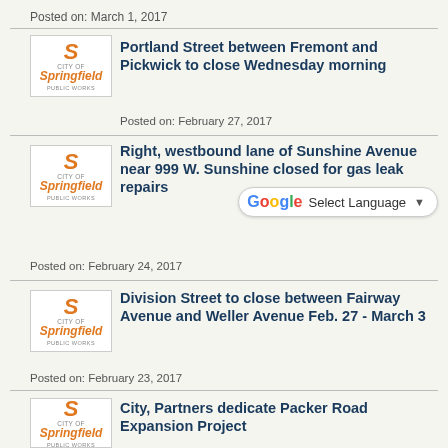Posted on: March 1, 2017
[Figure (logo): City of Springfield Public Works logo]
Portland Street between Fremont and Pickwick to close Wednesday morning
Posted on: February 27, 2017
[Figure (logo): City of Springfield Public Works logo]
Right, westbound lane of Sunshine Avenue near 999 W. Sunshine closed for gas leak repairs
Posted on: February 24, 2017
[Figure (logo): City of Springfield Public Works logo]
Division Street to close between Fairway Avenue and Weller Avenue Feb. 27 - March 3
Posted on: February 23, 2017
[Figure (logo): City of Springfield Public Works logo]
City, Partners dedicate Packer Road Expansion Project
Posted on: February 22, 2017